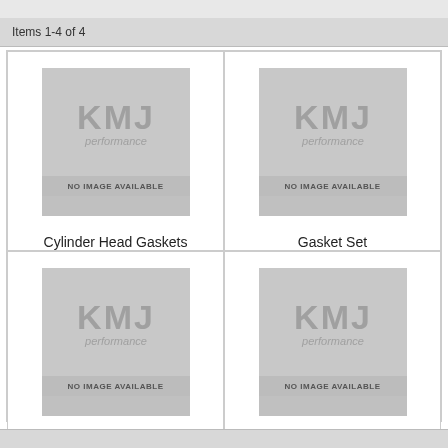Items 1-4 of 4
[Figure (logo): KMJ Performance logo placeholder - NO IMAGE AVAILABLE]
Cylinder Head Gaskets
[Figure (logo): KMJ Performance logo placeholder - NO IMAGE AVAILABLE]
Gasket Set
[Figure (logo): KMJ Performance logo placeholder - NO IMAGE AVAILABLE]
Intake Gaskets
[Figure (logo): KMJ Performance logo placeholder - NO IMAGE AVAILABLE]
Water Pump Gaskets
Items 1-4 of 4